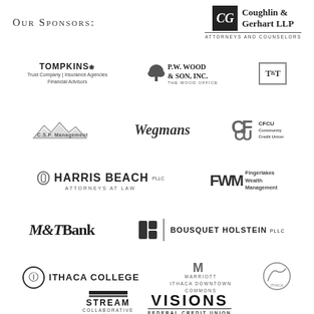Our Sponsors:
[Figure (logo): Coughlin & Gerhart LLP Attorneys and Counselors logo]
[Figure (logo): Tompkins Trust Company Insurance Agencies Financial Advisors logo]
[Figure (logo): P.W. Wood & Son, Inc. The Wood Office logo]
[Figure (logo): Thaler & Thaler PC logo]
[Figure (logo): C.S.P. Management logo]
[Figure (logo): Wegmans logo]
[Figure (logo): CFCU Community Credit Union logo]
[Figure (logo): Harris Beach PLLC Attorneys at Law logo]
[Figure (logo): FWM Fingerlakes Wealth Management logo]
[Figure (logo): M&T Bank logo]
[Figure (logo): Bousquet Holstein PLLC logo]
[Figure (logo): Ithaca College logo]
[Figure (logo): Marriott Ithaca Downtown Commons logo]
[Figure (logo): Cooperative Federal Credit Union Ithaca logo]
[Figure (logo): Stream Collaborative Architecture logo]
[Figure (logo): Visions Federal Credit Union logo]